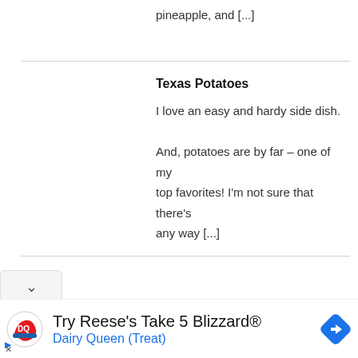pineapple, and [...]
Texas Potatoes
I love an easy and hardy side dish. And, potatoes are by far – one of my top favorites! I'm not sure that there's any way [...]
[Figure (screenshot): Dairy Queen advertisement banner showing DQ logo, text 'Try Reese's Take 5 Blizzard®' and 'Dairy Queen (Treat)' with a navigation arrow icon]